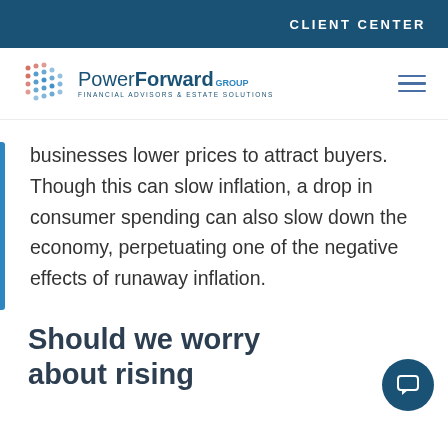CLIENT CENTER
[Figure (logo): PowerForward Group - Financial Advisors & Estate Solutions logo with dot-grid icon]
businesses lower prices to attract buyers. Though this can slow inflation, a drop in consumer spending can also slow down the economy, perpetuating one of the negative effects of runaway inflation.
Should we worry about rising